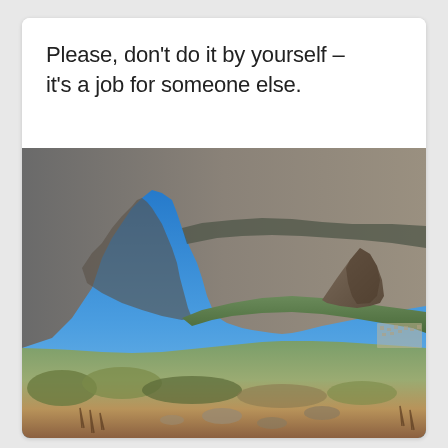Please, don't do it by yourself – it's a job for someone else.
[Figure (photo): Landscape photograph of mountains and hills under a clear blue sky, with rocky cliffs on the left, a conical peak in the mid-right distance, and scrubby vegetation in the foreground. Appears to be Cape Town, South Africa area (Table Mountain / Lion's Head).]